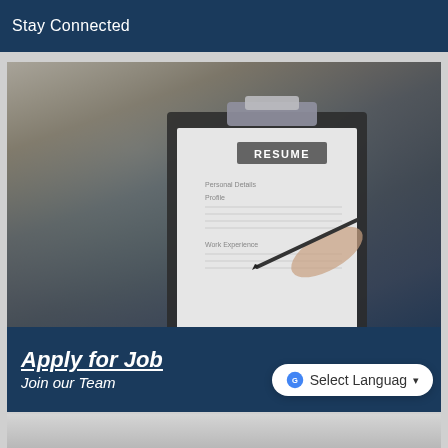Stay Connected
[Figure (photo): Person reviewing a resume on a clipboard during a job interview; interviewer holding a pen pointing at the resume document]
Apply for Job
Join our Team
Select Language